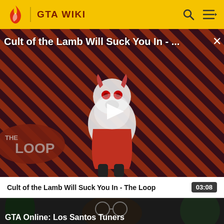GTA WIKI
[Figure (screenshot): Video thumbnail for 'Cult of the Lamb Will Suck You In - The Loop' showing animated lamb character on diagonal red/dark striped background with 'THE LOOP' text and a play button overlay]
Cult of the Lamb Will Suck You In - The Loop  03:08
[Figure (screenshot): Video thumbnail for 'GTA Online: Los Santos Tuners' showing a person with sparkly sunglasses]